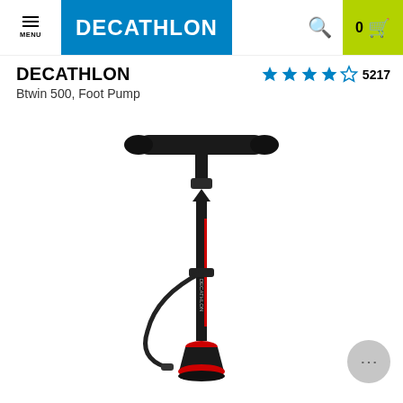MENU | DECATHLON | 0 [cart]
DECATHLON
Btwin 500, Foot Pump
★★★★☆ 5217
[Figure (photo): Black Decathlon Btwin 500 floor/foot pump with T-bar handle, red accents, hose with connector, and red base plate, shown against white background.]